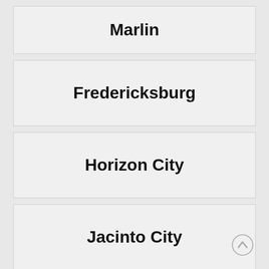Marlin
Fredericksburg
Horizon City
Jacinto City
Hewitt